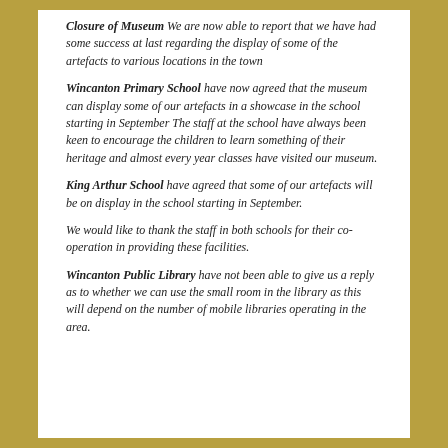Closure of Museum We are now able to report that we have had some success at last regarding the display of some of the artefacts to various locations in the town
Wincanton Primary School have now agreed that the museum can display some of our artefacts in a showcase in the school starting in September The staff at the school have always been keen to encourage the children to learn something of their heritage and almost every year classes have visited our museum.
King Arthur School have agreed that some of our artefacts will be on display in the school starting in September.
We would like to thank the staff in both schools for their co-operation in providing these facilities.
Wincanton Public Library have not been able to give us a reply as to whether we can use the small room in the library as this will depend on the number of mobile libraries operating in the area.